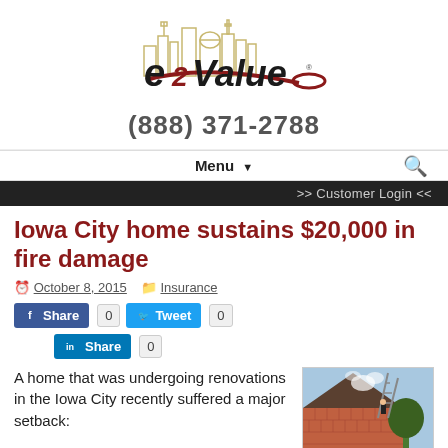[Figure (logo): e2Value logo with city skyline silhouette and red swoosh]
(888) 371-2788
Menu ▼
>> Customer Login <<
Iowa City home sustains $20,000 in fire damage
October 8, 2015   Insurance
Share 0   Tweet 0   Share 0
[Figure (photo): Firefighters on a ladder at a house with smoke, brick home exterior]
A home that was undergoing renovations in the Iowa City recently suffered a major setback: